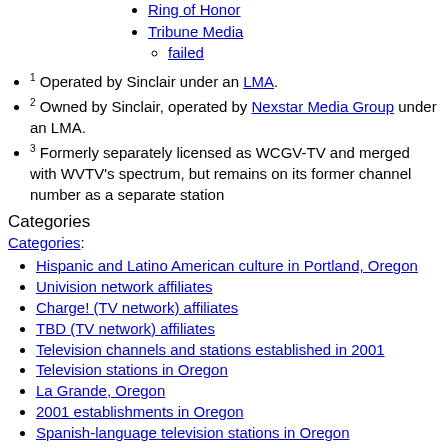Ring of Honor
Tribune Media
failed
1 Operated by Sinclair under an LMA.
2 Owned by Sinclair, operated by Nexstar Media Group under an LMA.
3 Formerly separately licensed as WCGV-TV and merged with WVTV's spectrum, but remains on its former channel number as a separate station
Categories
Categories:
Hispanic and Latino American culture in Portland, Oregon
Univision network affiliates
Charge! (TV network) affiliates
TBD (TV network) affiliates
Television channels and stations established in 2001
Television stations in Oregon
La Grande, Oregon
2001 establishments in Oregon
Spanish-language television stations in Oregon
Sinclair Broadcast Group